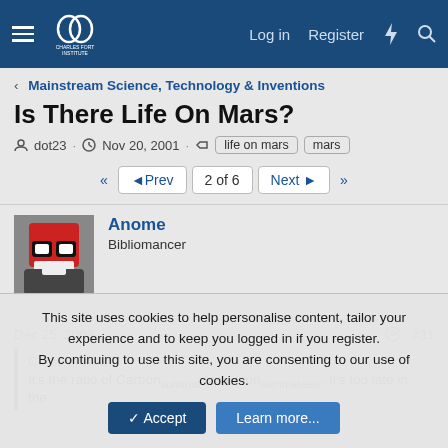Charles Fort Institute — Navigation bar with Log in, Register
< Mainstream Science, Technology & Inventions
Is There Life On Mars?
dot23 · Nov 20, 2001 · life on mars · mars
◄◄  ◄Prev  2 of 6  Next►  ►►
[Figure (illustration): Avatar image of user Anome: red and black pixelated character with goggles]
Anome
Bibliomancer
Dec 25, 2003  #31
Caroline said:
It's the ratio of Carbonsummat to carbonsummatelse. It's too late in the
This site uses cookies to help personalise content, tailor your experience and to keep you logged in if you register.
By continuing to use this site, you are consenting to our use of cookies.
✓ Accept    Learn more...